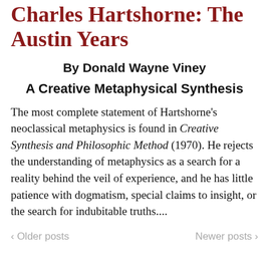Charles Hartshorne: The Austin Years
By Donald Wayne Viney
A Creative Metaphysical Synthesis
The most complete statement of Hartshorne's neoclassical metaphysics is found in Creative Synthesis and Philosophic Method (1970). He rejects the understanding of metaphysics as a search for a reality behind the veil of experience, and he has little patience with dogmatism, special claims to insight, or the search for indubitable truths....
‹ Older posts    Newer posts ›